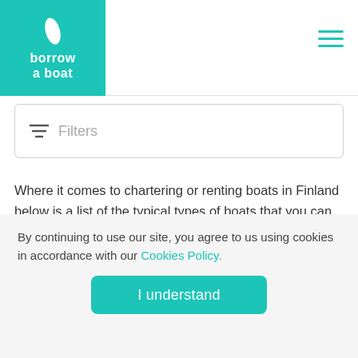borrow a boat
Filters
Where it comes to chartering or renting boats in Finland below is a list of the typical types of boats that you can hire on Borrow A Boat with a description of the boat type. If you can't find the individual boat charter you are looking for when you do a search in [location name] it's worthwhile searching nearby locations as your chosen boat type might be available nearby.
By continuing to use our site, you agree to us using cookies in accordance with our Cookies Policy.